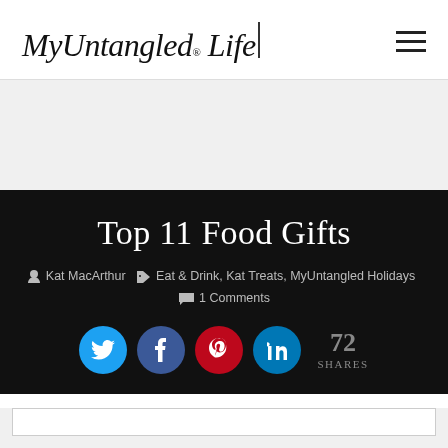[Figure (logo): MyUntangled Life logo in italic serif font with registered trademark symbol and vertical bar divider, plus hamburger menu icon on the right]
Top 11 Food Gifts
Kat MacArthur  Eat & Drink, Kat Treats, MyUntangled Holidays  1 Comments
[Figure (infographic): Social sharing buttons: Twitter (blue), Facebook (dark blue), Pinterest (red), LinkedIn (light blue), with 72 SHARES count]